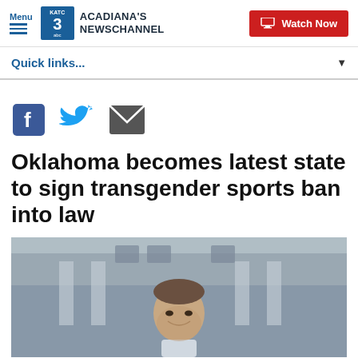Menu | KATC Acadiana's Newschannel | Watch Now
Quick links...
[Figure (other): Social media share icons: Facebook, Twitter, Email]
Oklahoma becomes latest state to sign transgender sports ban into law
[Figure (photo): Photo of a man smiling in front of a building with columns, likely Oklahoma Governor Kevin Stitt]